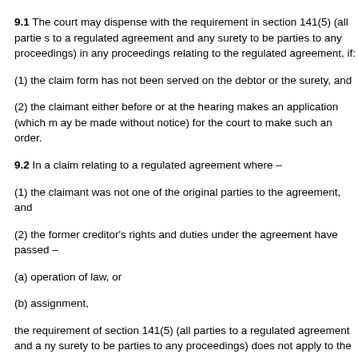9.1  The court may dispense with the requirement in section 141(5) (all parties to a regulated agreement and any surety to be parties to any proceedings) in any proceedings relating to the regulated agreement, if:
(1) the claim form has not been served on the debtor or the surety, and
(2) the claimant either before or at the hearing makes an application (which may be made without notice) for the court to make such an order.
9.2  In a claim relating to a regulated agreement where –
(1) the claimant was not one of the original parties to the agreement, and
(2) the former creditor's rights and duties under the agreement have passed –
(a) operation of law, or
(b) assignment,
the requirement of section 141(5) (all parties to a regulated agreement and any surety to be parties to any proceedings) does not apply to the former creditor, unless the court otherwise orders.